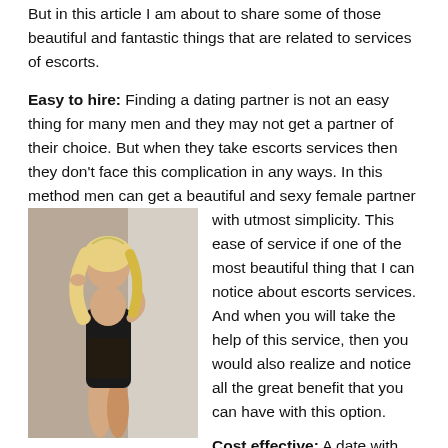But in this article I am about to share some of those beautiful and fantastic things that are related to services of escorts.
Easy to hire: Finding a dating partner is not an easy thing for many men and they may not get a partner of their choice. But when they take escorts services then they don't face this complication in any ways. In this method men can get a beautiful and sexy female partner with utmost simplicity. This ease of service if one of the most beautiful thing that I can notice about escorts services. And when you will take the help of this service, then you would also realize and notice all the great benefit that you can have with this option.
[Figure (photo): A blonde woman in a black lace bodysuit posing on stairs]
Cost effective: A date with hot and beautiful girls is not an easy thing